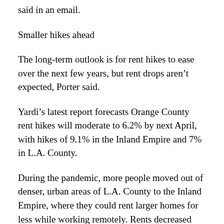said in an email.
Smaller hikes ahead
The long-term outlook is for rent hikes to ease over the next few years, but rent drops aren't expected, Porter said.
Yardi's latest report forecasts Orange County rent hikes will moderate to 6.2% by next April, with hikes of 9.1% in the Inland Empire and 7% in L.A. County.
During the pandemic, more people moved out of denser, urban areas of L.A. County to the Inland Empire, where they could rent larger homes for less while working remotely. Rents decreased year over year in L.A. County from the spring of 2020 through the winter of 2021.